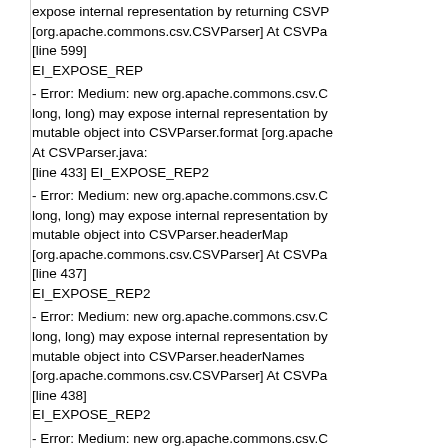expose internal representation by returning CSVP[org.apache.commons.csv.CSVParser] At CSVPa[line 599] EI_EXPOSE_REP
- Error: Medium: new org.apache.commons.csv.C(long, long) may expose internal representation by mutable object into CSVParser.format [org.apacheAt CSVParser.java: [line 433] EI_EXPOSE_REP2
- Error: Medium: new org.apache.commons.csv.C(long, long) may expose internal representation by mutable object into CSVParser.headerMap [org.apache.commons.csv.CSVParser] At CSVPa[line 437] EI_EXPOSE_REP2
- Error: Medium: new org.apache.commons.csv.C(long, long) may expose internal representation by mutable object into CSVParser.headerNames [org.apache.commons.csv.CSVParser] At CSVPa[line 438] EI_EXPOSE_REP2
- Error: Medium: new org.apache.commons.csv.C(CSVFormat) may expose internal representation b mutable object into CSVPrinter.format [org.apache.commons.csv.CSVPrinter] At CSVPri[line 100] EI_EXPOSE_REP2
Suppresss SpotBugs Errors:
- Error: Medium: org.apache.commons.csv.CSVFo